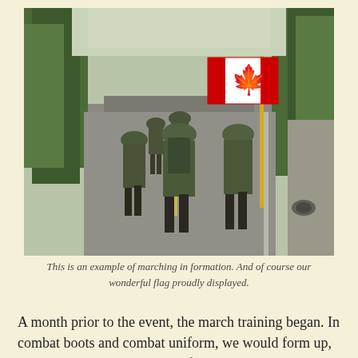[Figure (photo): Soldiers in camouflage uniforms marching in formation down a road, viewed from behind. One soldier carries a Canadian flag on a yellow pole. Green trees line the road.]
This is an example of marching in formation.  And of course our wonderful flag proudly displayed.
A month prior to the event, the march training began.  In combat boots and combat uniform, we would form up, two by two in lines and walk for eight to sixteen K out through the German countryside, along farmers fields, river-side